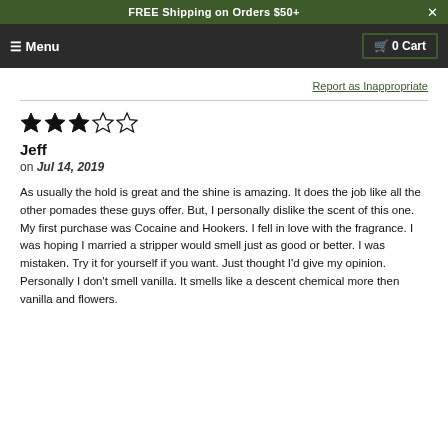FREE Shipping on Orders $50+
☰ Menu   🛒 0 Cart
Report as Inappropriate
Jeff
on Jul 14, 2019

As usually the hold is great and the shine is amazing. It does the job like all the other pomades these guys offer. But, I personally dislike the scent of this one. My first purchase was Cocaine and Hookers. I fell in love with the fragrance. I was hoping I married a stripper would smell just as good or better. I was mistaken. Try it for yourself if you want. Just thought I'd give my opinion. Personally I don't smell vanilla. It smells like a descent chemical more then vanilla and flowers.